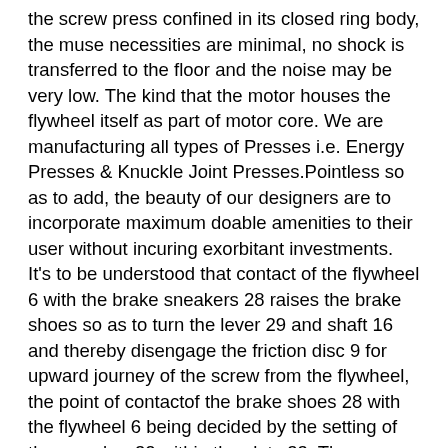the screw press confined in its closed ring body, the muse necessities are minimal, no shock is transferred to the floor and the noise may be very low. The kind that the motor houses the flywheel itself as part of motor core. We are manufacturing all types of Presses i.e. Energy Presses & Knuckle Joint Presses.Pointless so as to add, the beauty of our designers are to incorporate maximum doable amenities to their user without incuring exorbitant investments. It's to be understood that contact of the flywheel 6 with the brake sneakers 28 raises the brake shoes so as to turn the lever 29 and shaft 16 and thereby disengage the friction disc 9 for upward journey of the screw from the flywheel, the point of contactof the brake shoes 28 with the flywheel 6 being decided by the setting of the crossbar 32 within the slots 33. The mechanism up to now described is known observe and with such mechanism there's a tendency for the flywheel 6 to strike the brake footwear 28 with such pressure that the lever 15 is pushed past the neutral position on going